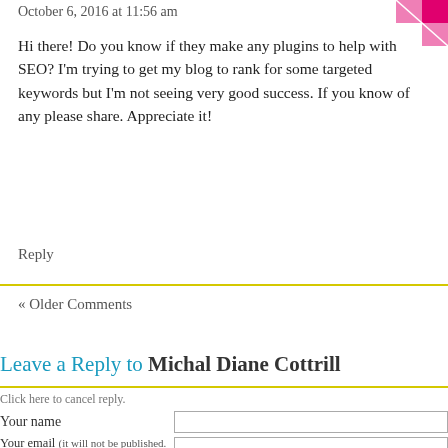October 6, 2016 at 11:56 am
Hi there! Do you know if they make any plugins to help with SEO? I'm trying to get my blog to rank for some targeted keywords but I'm not seeing very good success. If you know of any please share. Appreciate it!
Reply
« Older Comments
Leave a Reply to Michal Diane Cottrill
Click here to cancel reply.
Your name
Your email (it will not be published. If you want people to contact you, leave your email address in the message too.)
Your website (if you've got one)